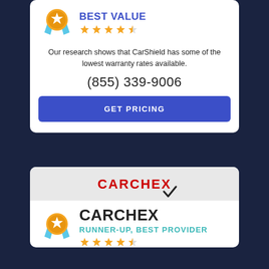[Figure (illustration): Award medal icon with star and blue ribbon]
BEST VALUE
[Figure (illustration): 4.5 star rating (4 full stars and 1 half star in orange/gold)]
Our research shows that CarShield has some of the lowest warranty rates available.
(855) 339-9006
GET PRICING
[Figure (logo): CARCHEX logo in dark red/crimson with black checkmark]
[Figure (illustration): Award medal icon with star and blue ribbon]
CARCHEX
RUNNER-UP, BEST PROVIDER
[Figure (illustration): 4.5 star rating (4 full stars and 1 half star in orange/gold)]